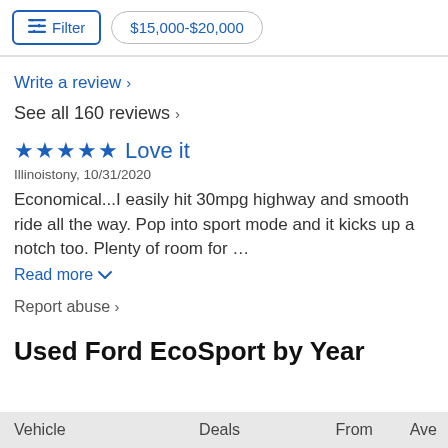Filter | $15,000-$20,000
Write a review >
See all 160 reviews >
★★★★★ Love it
Illinoistony, 10/31/2020
Economical...I easily hit 30mpg highway and smooth ride all the way. Pop into sport mode and it kicks up a notch too. Plenty of room for …
Read more
Report abuse >
Used Ford EcoSport by Year
| Vehicle | Deals | From | Ave |
| --- | --- | --- | --- |